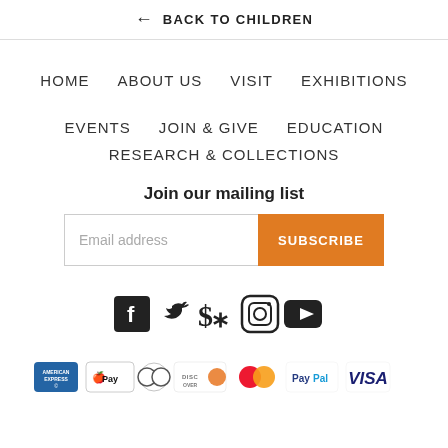← BACK TO CHILDREN
HOME   ABOUT US   VISIT   EXHIBITIONS
EVENTS   JOIN & GIVE   EDUCATION
RESEARCH & COLLECTIONS
Join our mailing list
Email address  SUBSCRIBE
[Figure (illustration): Social media icons: Facebook, Twitter, Pinterest, Instagram, YouTube]
[Figure (illustration): Payment method icons: American Express, Apple Pay, Diners Club, Discover, Mastercard, PayPal, Visa]